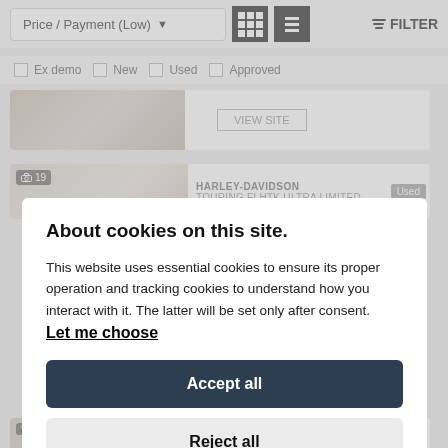[Figure (screenshot): Website listing page background showing sort dropdown 'Price / Payment (Low)', grid/list view toggle buttons, FILTER button, and checkbox filters for Ex demo, New, Used, Approved]
[Figure (screenshot): Cookie consent modal dialog with title 'About cookies on this site.', descriptive text, 'Let me choose' link, 'Accept all' button, and 'Reject all' button]
[Figure (screenshot): Partial Harley-Davidson listing card visible at bottom of page]